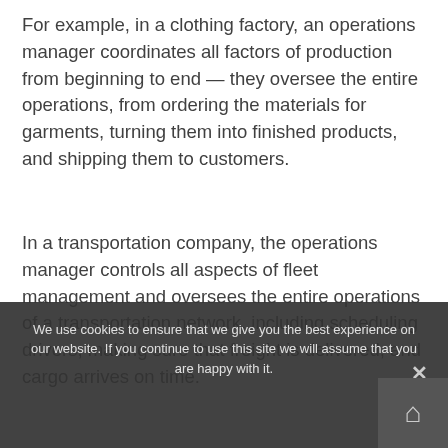For example, in a clothing factory, an operations manager coordinates all factors of production from beginning to end — they oversee the entire operations, from ordering the materials for garments, turning them into finished products, and shipping them to customers.
In a transportation company, the operations manager controls all aspects of fleet management and oversees the entire operations of a transportation network, including scheduling drivers, making sure that freight is delivered, and cargo arrives on time.
We use cookies to ensure that we give you the best experience on our website. If you continue to use this site we will assume that you are happy with it.